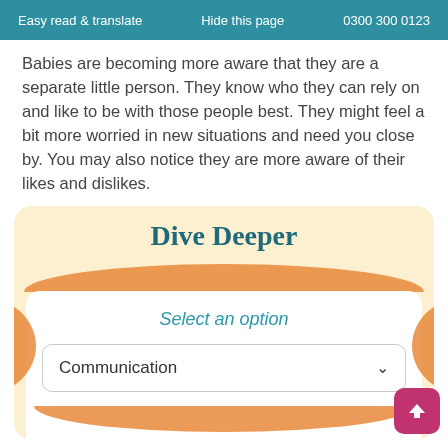Easy read & translate   Hide this page   0300 300 0123
Babies are becoming more aware that they are a separate little person. They know who they can rely on and like to be with those people best. They might feel a bit more worried in new situations and need you close by. You may also notice they are more aware of their likes and dislikes.
Dive Deeper
Select an option
Communication